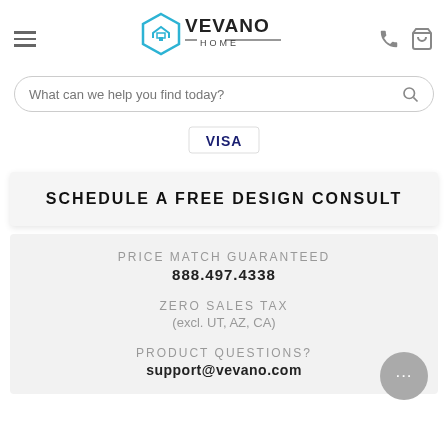[Figure (logo): Vevano Home logo with house icon in teal/blue and text VEVANO HOME]
What can we help you find today?
[Figure (logo): VISA payment logo in blue]
SCHEDULE A FREE DESIGN CONSULT
PRICE MATCH GUARANTEED
888.497.4338
ZERO SALES TAX
(excl. UT, AZ, CA)
PRODUCT QUESTIONS?
support@vevano.com